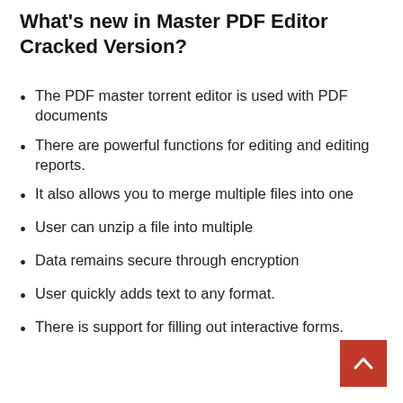What's new in Master PDF Editor Cracked Version?
The PDF master torrent editor is used with PDF documents
There are powerful functions for editing and editing reports.
It also allows you to merge multiple files into one
User can unzip a file into multiple
Data remains secure through encryption
User quickly adds text to any format.
There is support for filling out interactive forms.